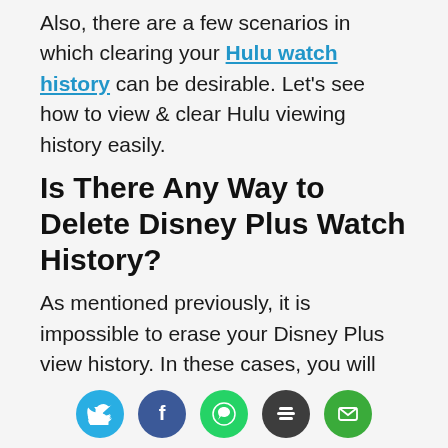Also, there are a few scenarios in which clearing your Hulu watch history can be desirable. Let's see how to view & clear Hulu viewing history easily.
Is There Any Way to Delete Disney Plus Watch History?
As mentioned previously, it is impossible to erase your Disney Plus view history. In these cases, you will have to find ways so that you will be able to control the suggested content. Similar to other streaming
[Figure (infographic): Social sharing buttons row: Twitter (blue), Facebook (dark blue), WhatsApp (green), Buffer (dark grey), Email (green)]